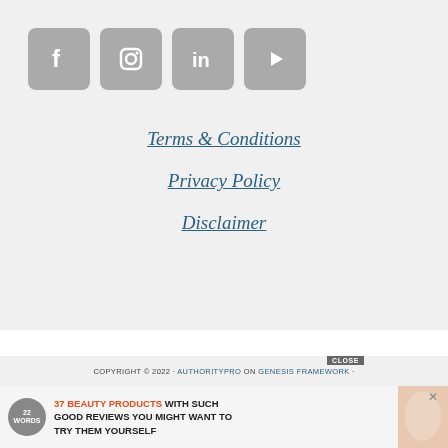[Figure (other): Four social media icon buttons in gray rounded squares: Facebook (f), Instagram (camera), LinkedIn (in), YouTube (play button)]
Terms & Conditions
Privacy Policy
Disclaimer
COPYRIGHT © 2022 · AUTHORITYPRO ON GENESIS FRAMEWORK ·
[Figure (infographic): Advertisement banner: 22 Words badge, '37 BEAUTY PRODUCTS WITH SUCH GOOD REVIEWS YOU MIGHT WANT TO TRY THEM YOURSELF' with product image and close button]